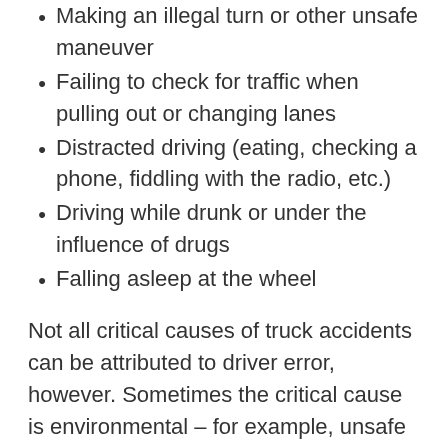Making an illegal turn or other unsafe maneuver
Failing to check for traffic when pulling out or changing lanes
Distracted driving (eating, checking a phone, fiddling with the radio, etc.)
Driving while drunk or under the influence of drugs
Falling asleep at the wheel
Not all critical causes of truck accidents can be attributed to driver error, however. Sometimes the critical cause is environmental – for example, unsafe road conditions, poor